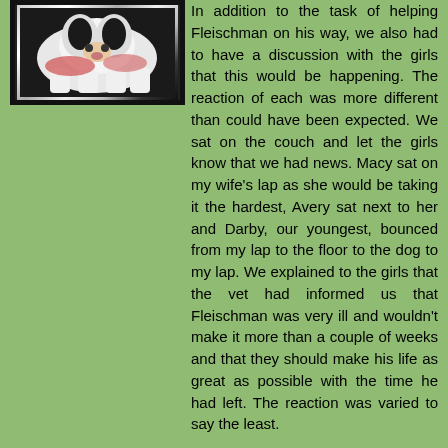[Figure (photo): Photo of a dog (likely Fleischman) framed with a black border, shown from above, appears to be a fluffy black and white dog]
In addition to the task of helping Fleischman on his way, we also had to have a discussion with the girls that this would be happening. The reaction of each was more different than could have been expected. We sat on the couch and let the girls know that we had news. Macy sat on my wife's lap as she would be taking it the hardest, Avery sat next to her and Darby, our youngest, bounced from my lap to the floor to the dog to my lap. We explained to the girls that the vet had informed us that Fleischman was very ill and wouldn't make it more than a couple of weeks and that they should make his life as great as possible with the time he had left. The reaction was varied to say the least.
DARBY- age 4  Noticed for a moment that her sisters were crying. This confused her because the dog was wiggling around on his back and wearing a huge smile. He seemed to be begging for a “frog splash” from her and she obliged. She dove on his belly and he jumped up and dashed out of the room. Not to be outdone she chased after him. I'm sure her sisters envied her innocence for at least a moment.